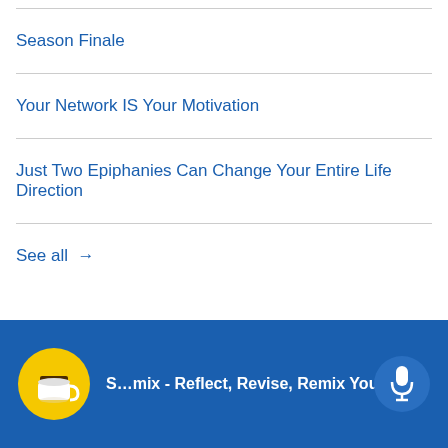Season Finale
Your Network IS Your Motivation
Just Two Epiphanies Can Change Your Entire Life Direction
See all →
S…mix - Reflect, Revise, Remix Your Life